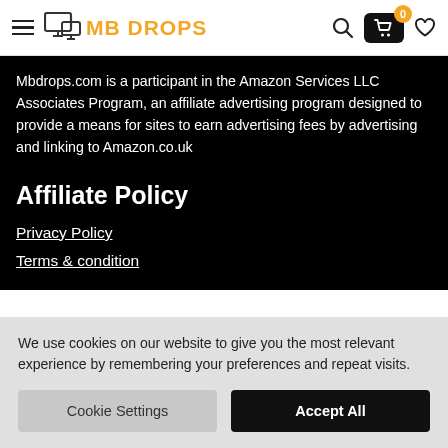MB DROPS navigation bar with hamburger menu, logo, search, cart (0), and heart icons
Mbdrops.com is a participant in the Amazon Services LLC Associates Program, an affiliate advertising program designed to provide a means for sites to earn advertising fees by advertising and linking to Amazon.co.uk
Affiliate Policy
Privacy Policy
Terms & condition
We use cookies on our website to give you the most relevant experience by remembering your preferences and repeat visits.
Cookie Settings | Accept All